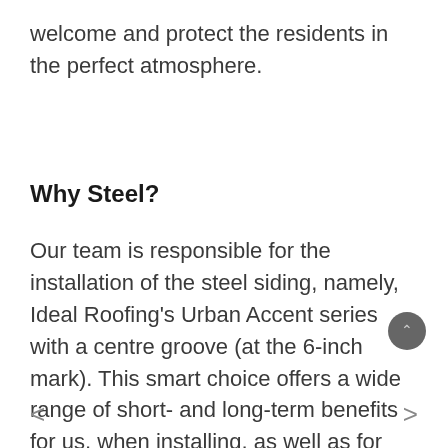welcome and protect the residents in the perfect atmosphere.
Why Steel?
Our team is responsible for the installation of the steel siding, namely, Ideal Roofing's Urban Accent series with a centre groove (at the 6-inch mark). This smart choice offers a wide range of short- and long-term benefits for us, when installing, as well as for customers!